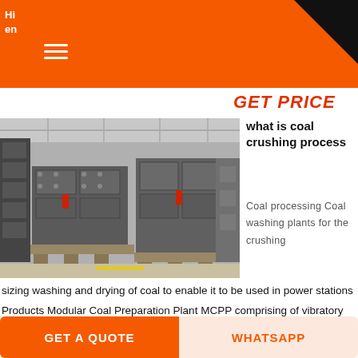Hi... en...
GET PRICE
[Figure (photo): Industrial coal crushing machine in a factory/warehouse setting. Large grey metal machinery on pallets.]
what is coal crushing process
Coal processing Coal washing plants for the crushing sizing washing and drying of coal to enable it to be used in power stations Products Modular Coal Preparation Plant MCPP comprising of vibratory screening equipment fine coal slurry separator magnetic separator cyclone heavy medium vessel etc
GET A QUOTE
WHATSAPP